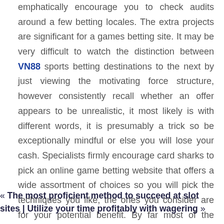emphatically encourage you to check audits around a few betting locales. The extra projects are significant for a games betting site. It may be very difficult to watch the distinction between VN88 sports betting destinations to the next by just viewing the motivating force structure, however consistently recall whether an offer appears to be unrealistic, it most likely is with different words, it is presumably a trick so be exceptionally mindful or else you will lose your cash. Specialists firmly encourage card sharks to pick an online game betting website that offers a wide assortment of choices so you will pick the techniques you like, the ones you consider are for your potential benefit. By far most of the betting destinations will let you examine the game chances that are tolerating wagers on.
« The most proficient method to succeed at slot sites | Utilize your time profitably with wagering »